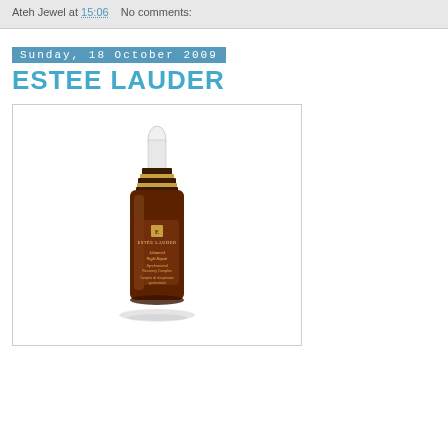Ateh Jewel at 15:06    No comments:
Sunday, 18 October 2009
ESTEE LAUDER
[Figure (photo): Estee Lauder Advanced Night Repair serum bottle with dropper, in a dark amber brown glass bottle with gold and dark brown banded cap and white dropper top, on white background inside a bordered image frame.]